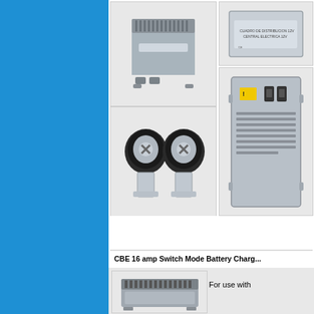[Figure (photo): Blue sidebar decorative element on the left side of the page]
[Figure (photo): Battery charger unit - grey box device, top-left product image]
[Figure (photo): Electrical distribution box or panel - top-right product image]
[Figure (photo): Two black rubber-capped bolt/terminal connectors with metal tabs]
[Figure (photo): Larger electrical distribution/control box with circuit breakers and warning label]
CBE 16 amp Switch Mode Battery Charg...
[Figure (photo): CBE 16 amp Switch Mode Battery Charger unit - bottom product image, partially shown]
For use with